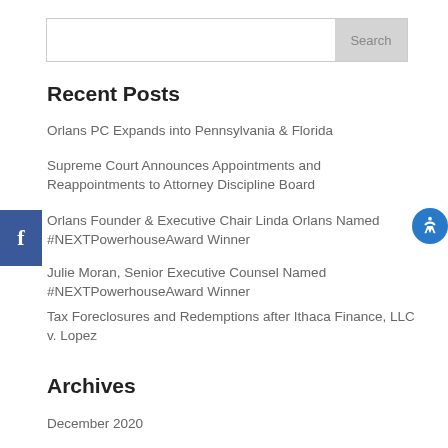[Figure (other): Search bar with text input and Search button]
Recent Posts
Orlans PC Expands into Pennsylvania & Florida
Supreme Court Announces Appointments and Reappointments to Attorney Discipline Board
Orlans Founder & Executive Chair Linda Orlans Named #NEXTPowerhouseAward Winner
Julie Moran, Senior Executive Counsel Named #NEXTPowerhouseAward Winner
Tax Foreclosures and Redemptions after Ithaca Finance, LLC v. Lopez
Archives
December 2020